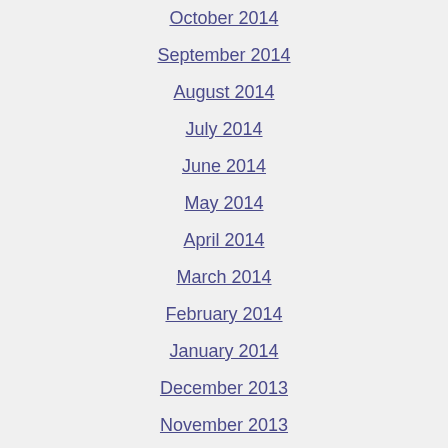October 2014
September 2014
August 2014
July 2014
June 2014
May 2014
April 2014
March 2014
February 2014
January 2014
December 2013
November 2013
October 2013
September 2013
August 2013
July 2013
June 2013
May 2013